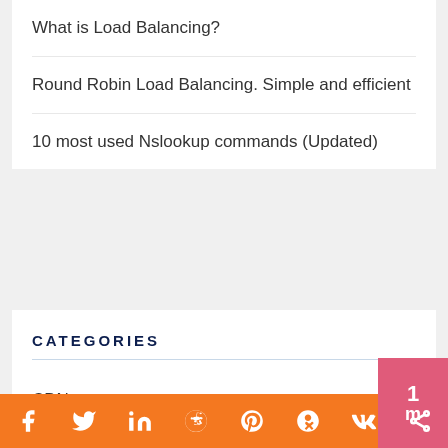What is Load Balancing?
Round Robin Load Balancing. Simple and efficient
10 most used Nslookup commands (Updated)
CATEGORIES
CDN
Cloud Computing